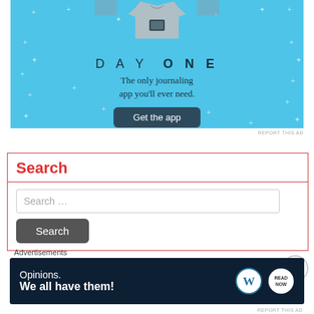[Figure (illustration): Day One journaling app advertisement banner. Light blue background with small star/cross decorations, a person holding a phone/tablet wearing a gray shirt at top. Text: DAY ONE - The only journaling app you'll ever need. Get the app button.]
REPORT THIS AD
Search
Search …
Search
Advertisements
[Figure (illustration): WordPress advertisement banner. Dark navy background. Text: Opinions. We all have them! WordPress logo and NOW icon on the right.]
REPORT THIS AD